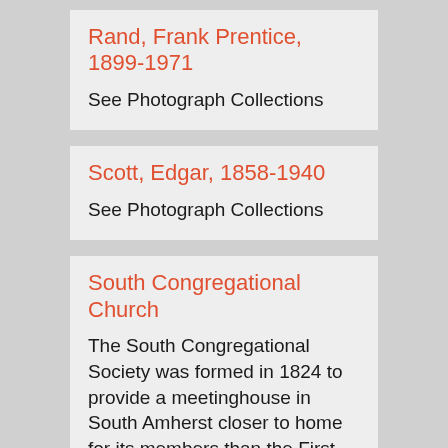Rand, Frank Prentice, 1899-1971
See Photograph Collections
Scott, Edgar, 1858-1940
See Photograph Collections
South Congregational Church
The South Congregational Society was formed in 1824 to provide a meetinghouse in South Amherst closer to home for its members than the First Church in Amherst Center. The South Congregational Church Collection extends from 1824 to the present. Material includes bound volumes of church records beginning in 1825; early documents, such as the deed of land from Nathaniel Dickinson and the first